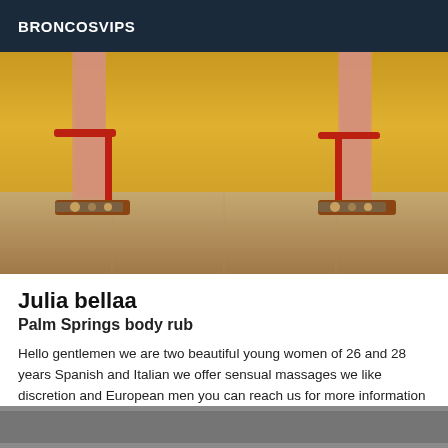BRONCOSVIPS
[Figure (photo): Photo showing the lower legs and feet of two women wearing red high-heeled sandals with decorative toe straps, standing on a tiled floor against a yellow wall.]
Julia bellaa
Palm Springs body rub
Hello gentlemen we are two beautiful young women of 26 and 28 years Spanish and Italian we offer sensual massages we like discretion and European men you can reach us for more information we do not answer to sms and Apel private has very soon kisses
[Figure (photo): Partial photo visible at bottom of page, cropped, showing a person.]